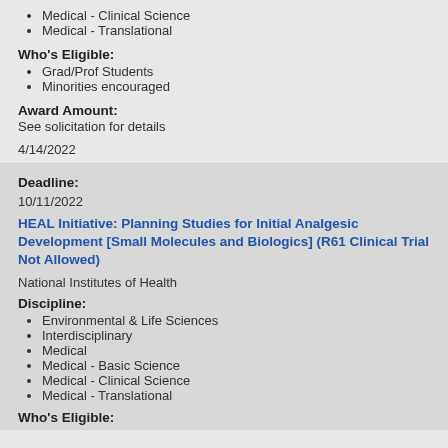Medical - Clinical Science
Medical - Translational
Who's Eligible:
Grad/Prof Students
Minorities encouraged
Award Amount:
See solicitation for details
4/14/2022
Deadline:
10/11/2022
HEAL Initiative: Planning Studies for Initial Analgesic Development [Small Molecules and Biologics] (R61 Clinical Trial Not Allowed)
National Institutes of Health
Discipline:
Environmental & Life Sciences
Interdisciplinary
Medical
Medical - Basic Science
Medical - Clinical Science
Medical - Translational
Who's Eligible: